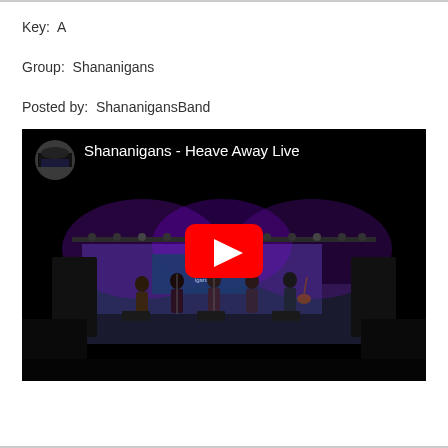Key:  A
Group:  Shananigans
Posted by:  ShananigansBand
[Figure (screenshot): YouTube video embed showing Shananigans - Heave Away Live, with a dark stage scene, band performing under purple stage lights, and a red YouTube play button in the center.]